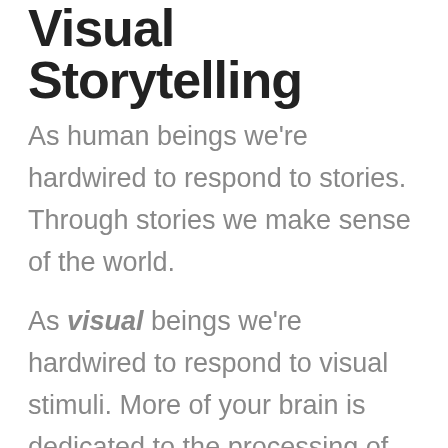Visual Storytelling
As human beings we're hardwired to respond to stories. Through stories we make sense of the world.
As visual beings we're hardwired to respond to visual stimuli. More of your brain is dedicated to the processing of visual information than any other sense.
So if you've got an idea to share, or a